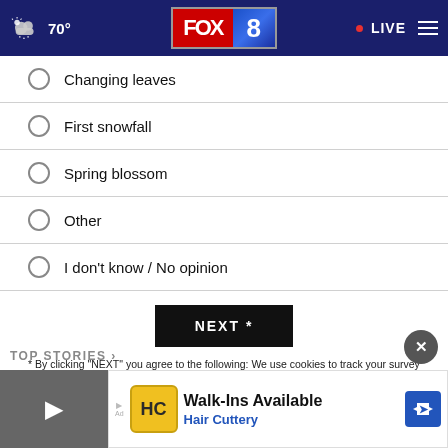FOX 8 | 70° | LIVE
Changing leaves
First snowfall
Spring blossom
Other
I don't know / No opinion
NEXT *
* By clicking "NEXT" you agree to the following: We use cookies to track your survey answers. If you would like to continue with this survey, please read and agree to the CivicScience Privacy Policy and Terms of Service
TOP STORIES ›
[Figure (screenshot): Advertisement banner for Hair Cuttery: Walk-Ins Available, with Hair Cuttery logo and navigation arrow icon]